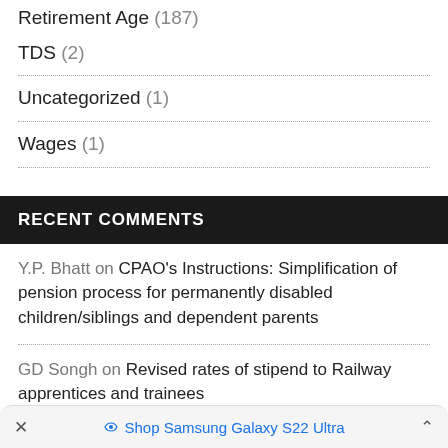Retirement Age (187)
TDS (2)
Uncategorized (1)
Wages (1)
RECENT COMMENTS
Y.P. Bhatt on CPAO's Instructions: Simplification of pension process for permanently disabled children/siblings and dependent parents
GD Songh on Revised rates of stipend to Railway apprentices and trainees
× Shop Samsung Galaxy S22 Ultra ∧